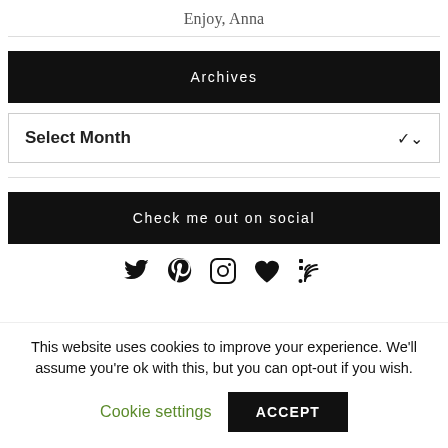Enjoy, Anna
Archives
Select Month
Check me out on social
[Figure (infographic): Social media icons: Twitter, Pinterest, Instagram, heart/Bloglovin, RSS]
This website uses cookies to improve your experience. We'll assume you're ok with this, but you can opt-out if you wish.
Cookie settings    ACCEPT